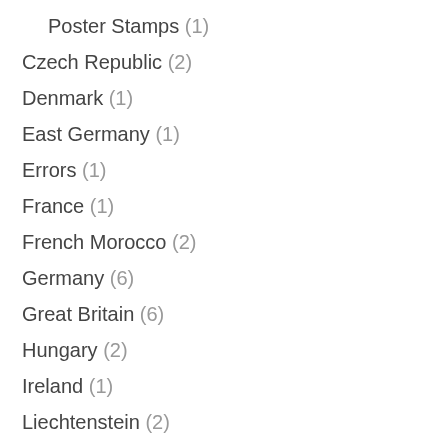Poster Stamps (1)
Czech Republic (2)
Denmark (1)
East Germany (1)
Errors (1)
France (1)
French Morocco (2)
Germany (6)
Great Britain (6)
Hungary (2)
Ireland (1)
Liechtenstein (2)
Macao (1)